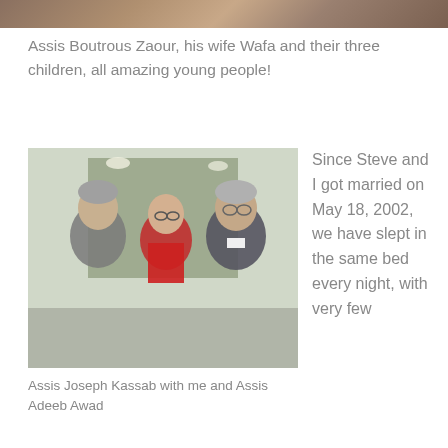[Figure (photo): Partial top strip of a photo showing people, cropped at top of page]
Assis Boutrous Zaour, his wife Wafa and their three children, all amazing young people!
[Figure (photo): Three people posing together indoors: a man in casual clothes on the left, a woman in red in the center, and a man in clerical collar on the right]
Assis Joseph Kassab with me and Assis Adeeb Awad
Since Steve and I got married on May 18, 2002, we have slept in the same bed every night, with very few